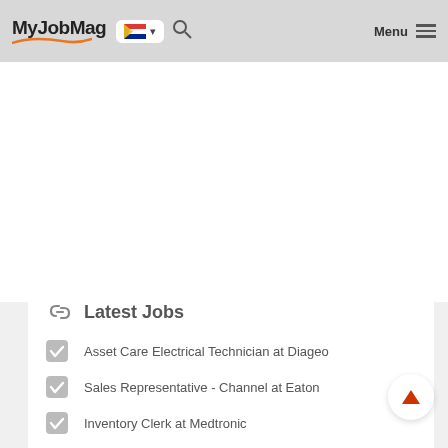MyJobMag — navigation bar with logo, South Africa flag selector, search icon, Menu
Latest Jobs
Asset Care Electrical Technician at Diageo
Sales Representative - Channel at Eaton
Inventory Clerk at Medtronic